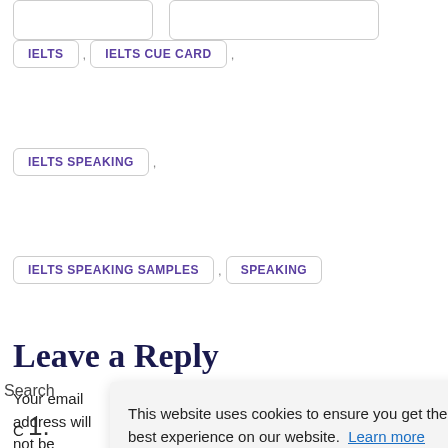IELTS , IELTS CUE CARD ,
IELTS SPEAKING ,
IELTS SPEAKING SAMPLES , SPEAKING
Leave a Reply
Your email address will not be published. Required fie
This website uses cookies to ensure you get the best experience on our website. Learn more
Got it!
Search
1.